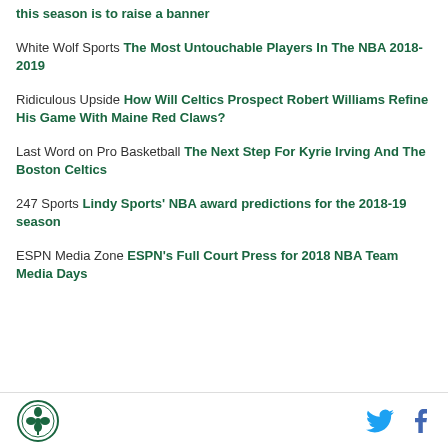this season is to raise a banner
White Wolf Sports The Most Untouchable Players In The NBA 2018-2019
Ridiculous Upside How Will Celtics Prospect Robert Williams Refine His Game With Maine Red Claws?
Last Word on Pro Basketball The Next Step For Kyrie Irving And The Boston Celtics
247 Sports Lindy Sports' NBA award predictions for the 2018-19 season
ESPN Media Zone ESPN's Full Court Press for 2018 NBA Team Media Days
Logo and social share icons